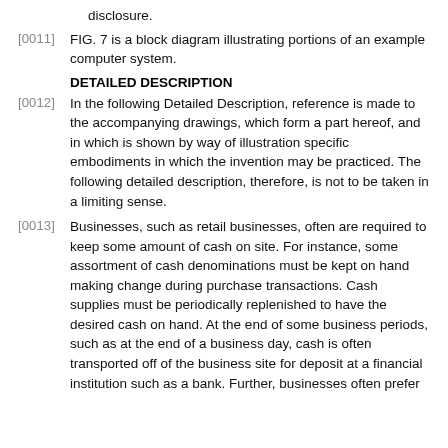disclosure.
[0011] FIG. 7 is a block diagram illustrating portions of an example computer system.
DETAILED DESCRIPTION
[0012] In the following Detailed Description, reference is made to the accompanying drawings, which form a part hereof, and in which is shown by way of illustration specific embodiments in which the invention may be practiced. The following detailed description, therefore, is not to be taken in a limiting sense.
[0013] Businesses, such as retail businesses, often are required to keep some amount of cash on site. For instance, some assortment of cash denominations must be kept on hand making change during purchase transactions. Cash supplies must be periodically replenished to have the desired cash on hand. At the end of some business periods, such as at the end of a business day, cash is often transported off of the business site for deposit at a financial institution such as a bank. Further, businesses often prefer